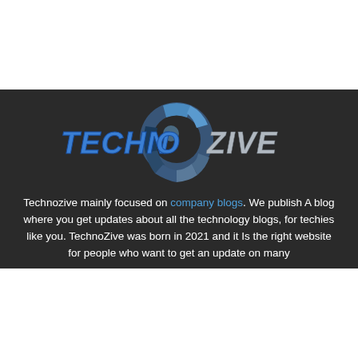[Figure (logo): TechnoZive logo: bold italic blue text 'TECHNO' and grey text 'ZIVE' with a circular blue/grey gear-like icon between them, on a dark background]
Technozive mainly focused on company blogs. We publish A blog where you get updates about all the technology blogs, for techies like you. TechnoZive was born in 2021 and it Is the right website for people who want to get an update on many